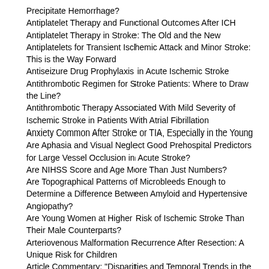Precipitate Hemorrhage?
Antiplatelet Therapy and Functional Outcomes After ICH
Antiplatelet Therapy in Stroke: The Old and the New
Antiplatelets for Transient Ischemic Attack and Minor Stroke: This is the Way Forward
Antiseizure Drug Prophylaxis in Acute Ischemic Stroke
Antithrombotic Regimen for Stroke Patients: Where to Draw the Line?
Antithrombotic Therapy Associated With Mild Severity of Ischemic Stroke in Patients With Atrial Fibrillation
Anxiety Common After Stroke or TIA, Especially in the Young
Are Aphasia and Visual Neglect Good Prehospital Predictors for Large Vessel Occlusion in Acute Stroke?
Are NIHSS Score and Age More Than Just Numbers?
Are Topographical Patterns of Microbleeds Enough to Determine a Difference Between Amyloid and Hypertensive Angiopathy?
Are Young Women at Higher Risk of Ischemic Stroke Than Their Male Counterparts?
Arteriovenous Malformation Recurrence After Resection: A Unique Risk for Children
Article Commentary: "Disparities and Temporal Trends in the Use of Anticoagulation in Patients With Ischemic Stroke and Atrial Fibrillation"
Article Commentary: "Endovascular Treatment for Posterior Circulation Stroke in Routine Clinical Practice"